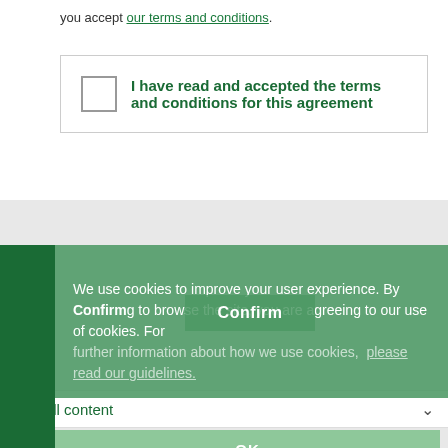you accept our terms and conditions.
I have read and accepted the terms and conditions for this agreement
We use cookies to improve your user experience. By continuing to browse the site, you are agreeing to our use of cookies. For further information about how we use cookies, please read our guidelines.
Confirm
See all content
OK
Facebook